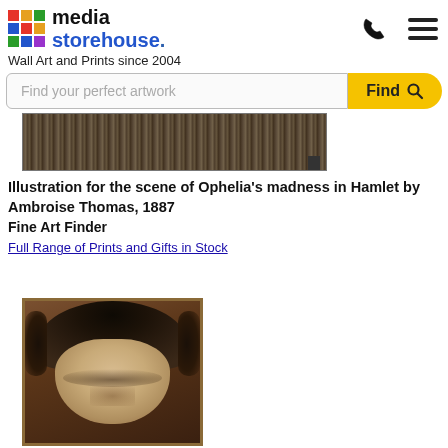media storehouse. Wall Art and Prints since 2004
Find your perfect artwork
[Figure (photo): Partial view of a historical illustration showing a crowded scene, cropped]
Illustration for the scene of Ophelia's madness in Hamlet by Ambroise Thomas, 1887
Fine Art Finder
Full Range of Prints and Gifts in Stock
[Figure (photo): Portrait painting of a person with dark curly hair, looking intensely, classical oil painting style, framed]